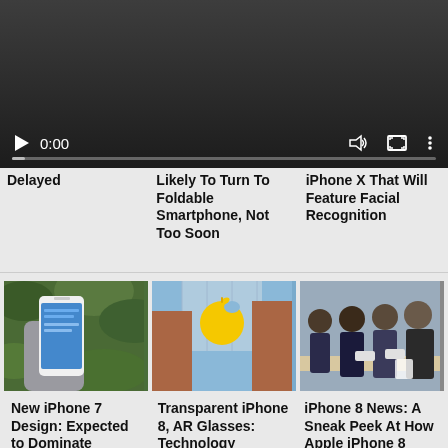[Figure (screenshot): Video player with dark background showing play button, 0:00 timestamp, volume icon, fullscreen icon, and settings icon. A progress bar at bottom.]
Delayed
Likely To Turn To Foldable Smartphone, Not Too Soon
iPhone X That Will Feature Facial Recognition
[Figure (photo): Hand holding white iPhone 7 against green foliage background]
[Figure (photo): Apple logo sign on glass building with city buildings in background]
[Figure (photo): Group of people in Apple Store looking at iPhone 8]
New iPhone 7 Design: Expected to Dominate
Transparent iPhone 8, AR Glasses: Technology
iPhone 8 News: A Sneak Peek At How Apple iPhone 8 With